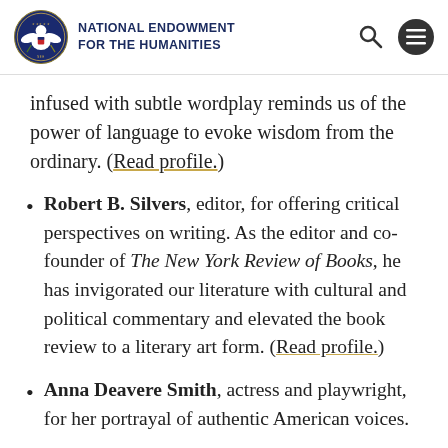NATIONAL ENDOWMENT FOR THE HUMANITIES
infused with subtle wordplay reminds us of the power of language to evoke wisdom from the ordinary. (Read profile.)
Robert B. Silvers, editor, for offering critical perspectives on writing. As the editor and co-founder of The New York Review of Books, he has invigorated our literature with cultural and political commentary and elevated the book review to a literary art form. (Read profile.)
Anna Deavere Smith, actress and playwright, for her portrayal of authentic American voices.